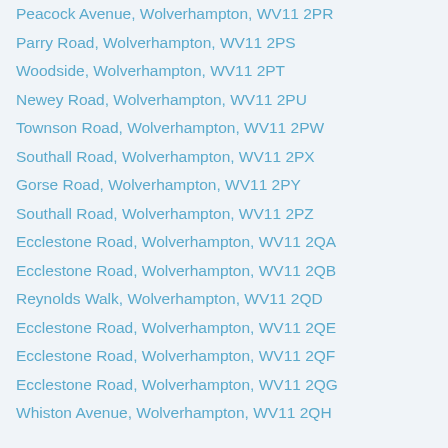Peacock Avenue, Wolverhampton, WV11 2PR
Parry Road, Wolverhampton, WV11 2PS
Woodside, Wolverhampton, WV11 2PT
Newey Road, Wolverhampton, WV11 2PU
Townson Road, Wolverhampton, WV11 2PW
Southall Road, Wolverhampton, WV11 2PX
Gorse Road, Wolverhampton, WV11 2PY
Southall Road, Wolverhampton, WV11 2PZ
Ecclestone Road, Wolverhampton, WV11 2QA
Ecclestone Road, Wolverhampton, WV11 2QB
Reynolds Walk, Wolverhampton, WV11 2QD
Ecclestone Road, Wolverhampton, WV11 2QE
Ecclestone Road, Wolverhampton, WV11 2QF
Ecclestone Road, Wolverhampton, WV11 2QG
Whiston Avenue, Wolverhampton, WV11 2QH